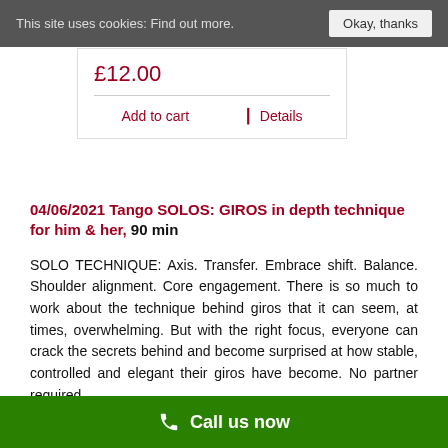This site uses cookies: Find out more.    Okay, thanks
£12.00
Add to cart    ≡ Details
04/06/2021 Tango SOLOS: GIROS in depth technique for him & her, 90 min
SOLO TECHNIQUE: Axis. Transfer. Embrace shift. Balance. Shoulder alignment. Core engagement. There is so much to work about the technique behind giros that it can seem, at times, overwhelming. But with the right focus, everyone can crack the secrets behind and become surprised at how stable, controlled and elegant their giros have become. No partner required.
PROGRAMME:
Call us now